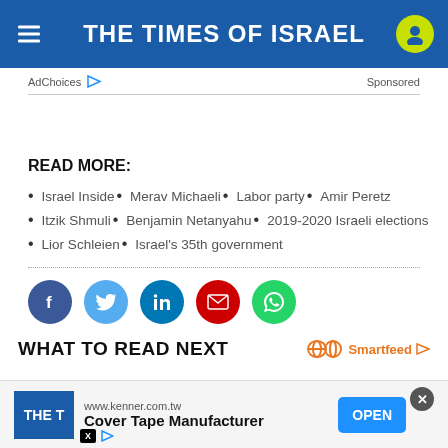THE TIMES OF ISRAEL
AdChoices   Sponsored
READ MORE:
Israel Inside
Merav Michaeli
Labor party
Amir Peretz
Itzik Shmuli
Benjamin Netanyahu
2019-2020 Israeli elections
Lior Schleien
Israel's 35th government
[Figure (infographic): Social share buttons: Facebook, Twitter, LinkedIn, Email, WhatsApp]
WHAT TO READ NEXT
[Figure (infographic): Ad banner: www.kenner.com.tw - Cover Tape Manufacturer - OPEN button]